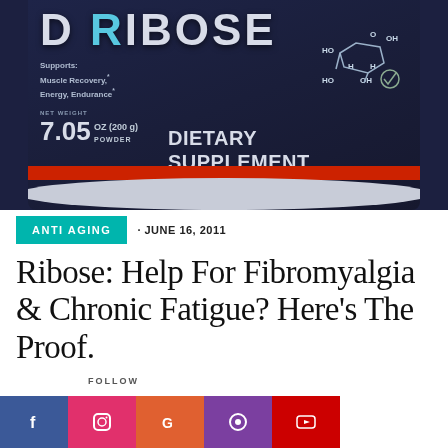[Figure (photo): Close-up photo of a D-Ribose dietary supplement container. The dark blue label reads 'D RIBOSE', supports Muscle Recovery, Energy, Endurance. Net weight 7.05 oz (200g). Dietary Supplement Powder. Shows a molecular structure diagram on the label.]
ANTI AGING
· JUNE 16, 2011
Ribose: Help For Fibromyalgia & Chronic Fatigue? Here's The Proof.
FOLLOW
[Figure (illustration): Social media follow icons: Facebook (f), Instagram, Google, Podcast, YouTube]